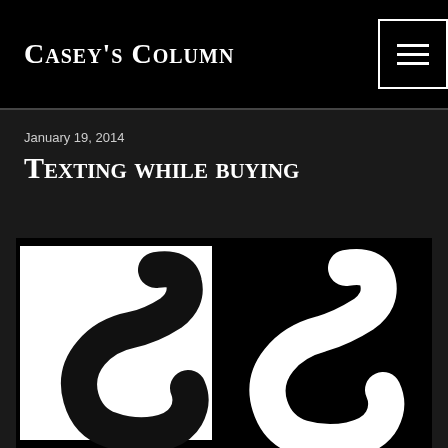Casey's Column
January 19, 2014
Texting while buying
[Figure (photo): Two brush-stroke letter C shapes side by side: left C is black on white background, right C is white on black background]